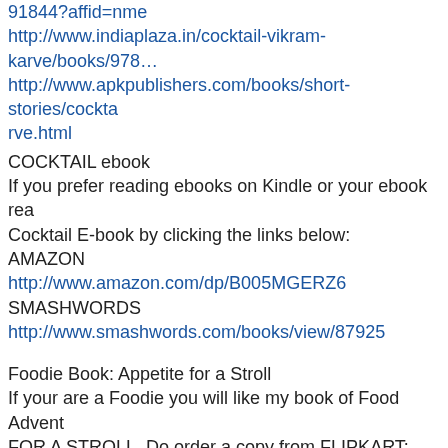91844?affid=nme
http://www.indiaplaza.in/cocktail-vikram-karve/books/978…
http://www.apkpublishers.com/books/short-stories/cocktail-vikram-karve.html
COCKTAIL ebook
If you prefer reading ebooks on Kindle or your ebook reader, get the Cocktail E-book by clicking the links below:
AMAZON
http://www.amazon.com/dp/B005MGERZ6
SMASHWORDS
http://www.smashwords.com/books/view/87925
Foodie Book: Appetite for a Stroll
If your are a Foodie you will like my book of Food Adventures APPETITE FOR A STROLL. Do order a copy from FLIPKART:
http://www.flipkart.com/appetite-stroll-vikram-karve/8190623354/…mr2o
About Vikram Karve
A creative person with a zest for life, Vikram Karve is a…